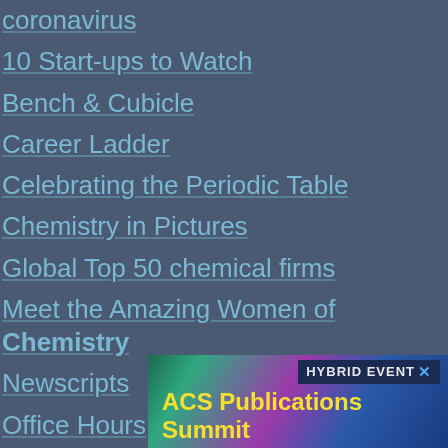coronavirus
10 Start-ups to Watch
Bench & Cubicle
Career Ladder
Celebrating the Periodic Table
Chemistry in Pictures
Global Top 50 chemical firms
Meet the Amazing Women of Chemistry
Newscripts
Office Hours
Periodic Graphics
Movers and Shakers
The Safety Zone blog
Sketch Chemistry
Speaking
Stereo C
[Figure (other): Advertisement banner for ACS Publications Summit, labeled as HYBRID EVENT with an X logo, shown on a colorful abstract background]